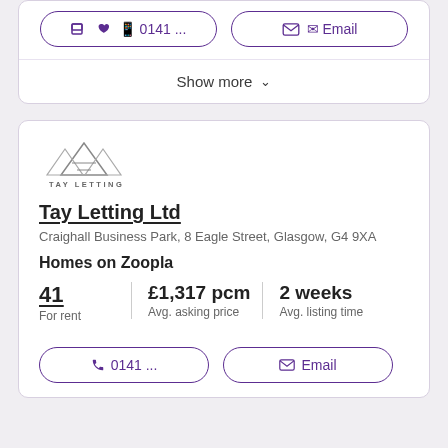0141 ...
Email
Show more
[Figure (logo): Tay Letting logo with mountain/triangle motif above text TAY LETTING]
Tay Letting Ltd
Craighall Business Park, 8 Eagle Street, Glasgow, G4 9XA
Homes on Zoopla
|  |  |  |
| --- | --- | --- |
| 41 | £1,317 pcm | 2 weeks |
| For rent | Avg. asking price | Avg. listing time |
0141 ...
Email